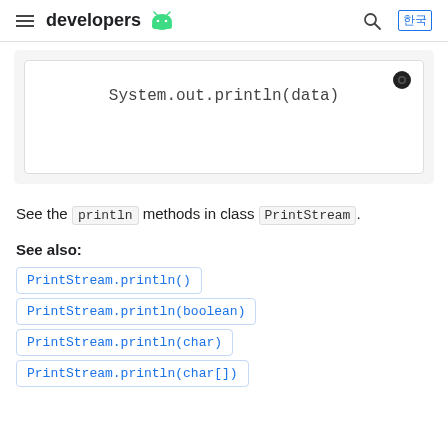developers [Android logo]
[Figure (screenshot): Code block showing: System.out.println(data)]
See the println methods in class PrintStream.
See also:
PrintStream.println()
PrintStream.println(boolean)
PrintStream.println(char)
PrintStream.println(char[])